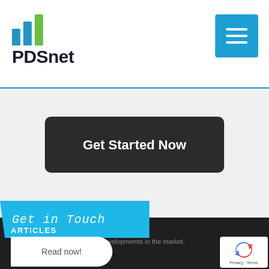[Figure (logo): PDSnet logo with blue and green bar chart icon and company name 'PDSnet' in dark text]
[Figure (other): Blue hamburger/menu button with three horizontal white lines]
Get Started Now
Get in Touch
ARTICLES
Keep up to date with the latest developments in the market.
Read now!
[Figure (other): Google reCAPTCHA badge with recycling arrow icon and 'Privacy - Terms' text]